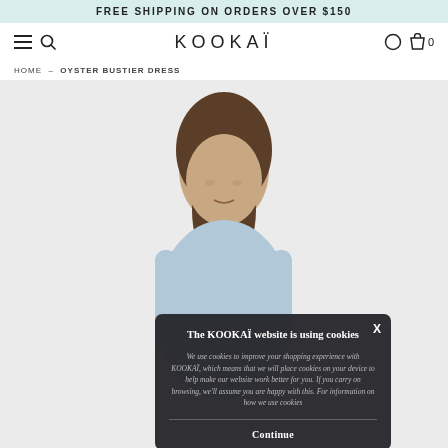FREE SHIPPING ON ORDERS OVER $150
KOOKAÏ — HOME > OYSTER BUSTIER DRESS
HOME → OYSTER BUSTIER DRESS
[Figure (photo): Fashion model wearing Oyster Bustier Dress against a light grey background, with a cookie consent overlay in the foreground]
The KOOKAÏ website is using cookies
We use cookies to improve your shopping experience with KOOKAÏ, which means that we will place cookies on your device to help make our website work better for you. If you carry on browsing, we'll assume you are happy with this. For information on how we use cookies
Continue